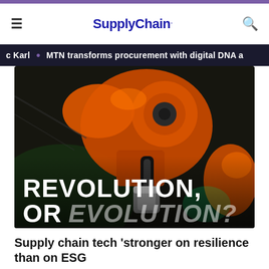SupplyChain.
K Karl • MTN transforms procurement with digital DNA a
[Figure (photo): Industrial orange robotic arm in a factory setting with green-lit background. Overlaid text reads: REVOLUTION, OR EVOLUTION?]
Supply chain tech 'stronger on resilience than on ESG